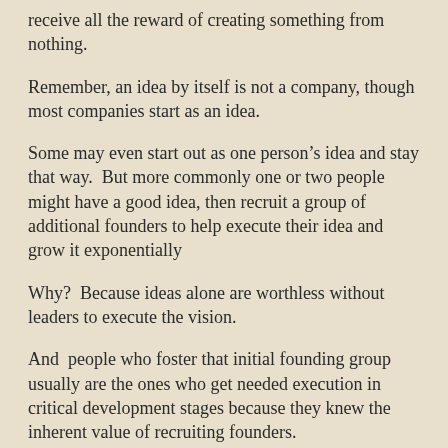receive all the reward of creating something from nothing.
Remember, an idea by itself is not a company, though most companies start as an idea.
Some may even start out as one person's idea and stay that way.  But more commonly one or two people might have a good idea, then recruit a group of additional founders to help execute their idea and grow it exponentially
Why?  Because ideas alone are worthless without leaders to execute the vision.
And  people who foster that initial founding group usually are the ones who get needed execution in critical development stages because they knew the inherent value of recruiting founders.
To do this however the idea originators must be willing to split up original ownership in some way, and then work to bring in other resources as needed so everyone can be successful in building the enterprise as a team of equals.